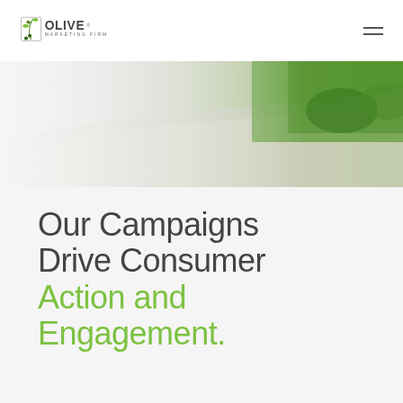OLIVE MARKETING FIRM
[Figure (photo): Outdoor scene showing a concrete walkway or driveway edge with green grass and shrubs in the background, fading from white/light on the left to lush green on the right]
Our Campaigns Drive Consumer Action and Engagement.